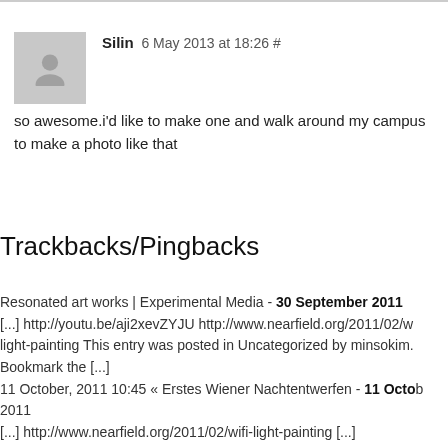Silin 6 May 2013 at 18:26 #
so awesome.i'd like to make one and walk around my campus to make a photo like that
Trackbacks/Pingbacks
Resonated art works | Experimental Media - 30 September 2011
[...] http://youtu.be/aji2xevZYJU http://www.nearfield.org/2011/02/w/ light-painting This entry was posted in Uncategorized by minsokim. Bookmark the [...]
11 October, 2011 10:45 « Erstes Wiener Nachtentwerfen - 11 October 2011
[...] http://www.nearfield.org/2011/02/wifi-light-painting [...]
Visualizing WiFi « handDrawingStudio - 17 October 2011
[...] uses led pulses captured by long-exposure photographs. LINK this:Like this:LikeBe the first to like this post. ← Previous post About [...]